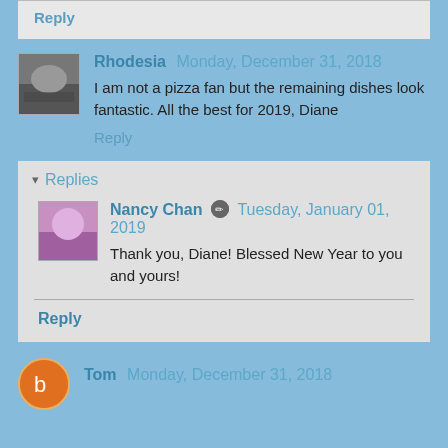Reply
Rhodesia  Monday, December 31, 2018
I am not a pizza fan but the remaining dishes look fantastic. All the best for 2019, Diane
Reply
Replies
Nancy Chan  Tuesday, January 01, 2019
Thank you, Diane! Blessed New Year to you and yours!
Reply
Tom  Monday, December 31, 2018